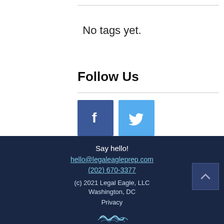No tags yet.
Follow Us
[Figure (illustration): Facebook and Twitter social media icon buttons — Facebook blue square with white 'f', Twitter light blue square with white bird icon]
Say hello!
hello@legaleagleprep.com
(202) 670-3377
(c) 2021 Legal Eagle, LLC
Washington, DC
Privacy
LegalEaglePrep
THINK LIKE A LAWYER